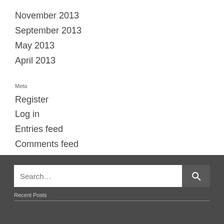November 2013
September 2013
May 2013
April 2013
Meta
Register
Log in
Entries feed
Comments feed
WordPress.com
Search…
Recent Posts